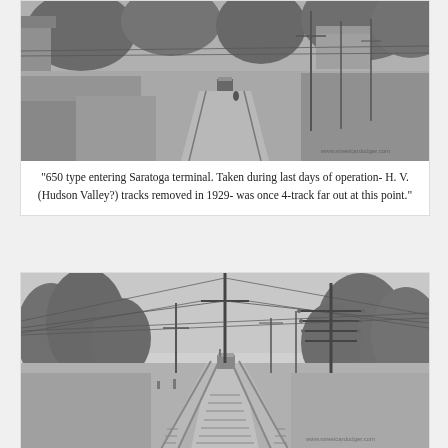[Figure (photo): Black and white historical photograph of a 650 type streetcar entering Saratoga terminal, with overgrown tracks, trees, and utility poles visible. A building is seen on the upper left.]
“650 type entering Saratoga terminal. Taken during last days of operation- H. V. (Hudson Valley?) tracks removed in 1929- was once 4-track far out at this point.”
[Figure (photo): Black and white historical photograph showing railroad tracks stretching into the distance with a streetcar in the middle distance, large utility poles with crossarms visible, and trees lining both sides of the tracks.]